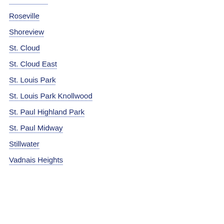Roseville
Shoreview
St. Cloud
St. Cloud East
St. Louis Park
St. Louis Park Knollwood
St. Paul Highland Park
St. Paul Midway
Stillwater
Vadnais Heights